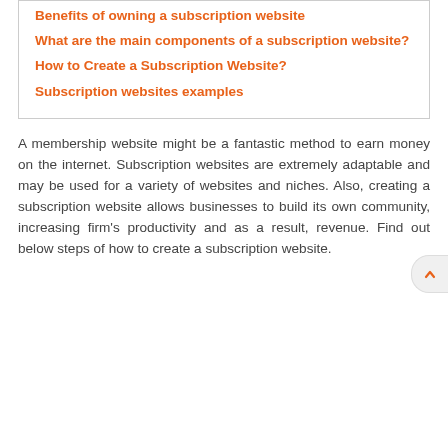Benefits of owning a subscription website
What are the main components of a subscription website?
How to Create a Subscription Website?
Subscription websites examples
A membership website might be a fantastic method to earn money on the internet. Subscription websites are extremely adaptable and may be used for a variety of websites and niches. Also, creating a subscription website allows businesses to build its own community, increasing firm's productivity and as a result, revenue. Find out below steps of how to create a subscription website.